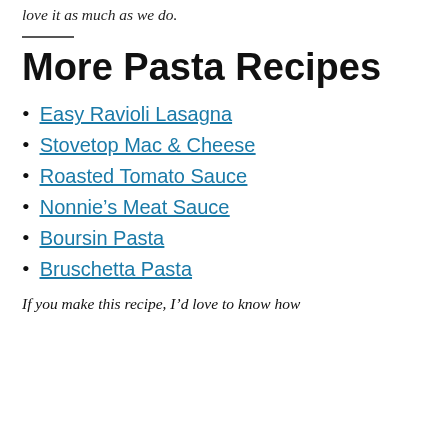love it as much as we do.
More Pasta Recipes
Easy Ravioli Lasagna
Stovetop Mac & Cheese
Roasted Tomato Sauce
Nonnie’s Meat Sauce
Boursin Pasta
Bruschetta Pasta
If you make this recipe, I’d love to know how